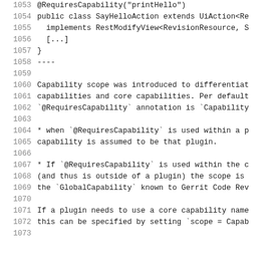1053   @RequiresCapability("printHello")
1054   public class SayHelloAction extends UiAction<Re
1055     implements RestModifyView<RevisionResource, S
1056     [...]
1057   }
1058   ----
1059
1060   Capability scope was introduced to differentiat
1061   capabilities and core capabilities. Per default
1062   `@RequiresCapability` annotation is `Capability
1063
1064   * when `@RequiresCapability` is used within a p
1065   capability is assumed to be that plugin.
1066
1067   * If `@RequiresCapability` is used within the c
1068   (and thus is outside of a plugin) the scope is
1069   the `GlobalCapability` known to Gerrit Code Rev
1070
1071   If a plugin needs to use a core capability name
1072   this can be specified by setting `scope = Capab
1073